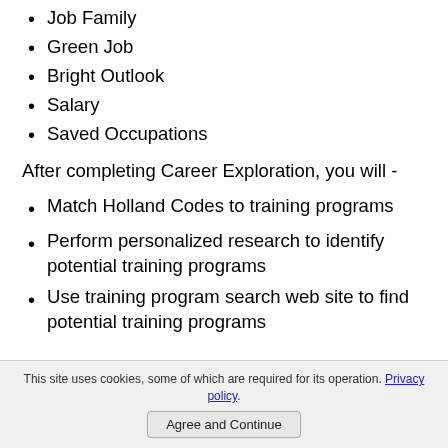Job Family
Green Job
Bright Outlook
Salary
Saved Occupations
After completing Career Exploration, you will -
Match Holland Codes to training programs
Perform personalized research to identify potential training programs
Use training program search web site to find potential training programs
This site uses cookies, some of which are required for its operation. Privacy policy. Agree and Continue